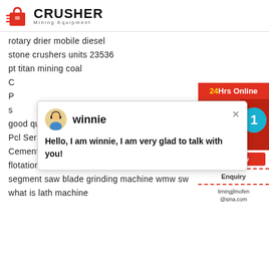[Figure (logo): Crusher Mining Equipment logo with red bag icon and bold CRUSHER text]
rotary drier mobile diesel
stone crushers units 23536
pt titan mining coal
C
P
s
good quality kyf air inflation flotation cell
Pcl Series Sand Making Machine Supplier (Pcl
Cement Finish Mill Temperature
flotation process laboratorium flotation proce
segment saw blade grinding machine wmw sw
what is lath machine
[Figure (screenshot): Chat popup with winnie avatar saying Hello, I am winnie, I am very glad to talk with you!]
[Figure (infographic): Right sidebar with 24Hrs Online bar, customer service image, badge showing 1, Chat Now button, Enquiry section, and limingjlmofen@sina.com email]